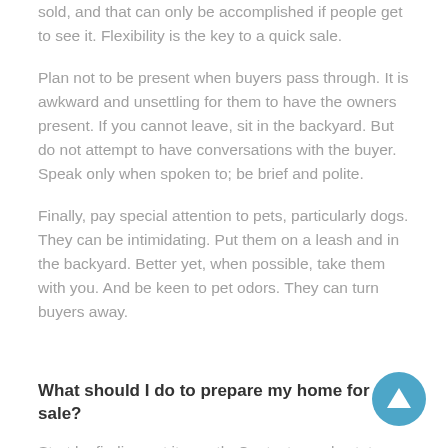sold, and that can only be accomplished if people get to see it. Flexibility is the key to a quick sale.
Plan not to be present when buyers pass through. It is awkward and unsettling for them to have the owners present. If you cannot leave, sit in the backyard. But do not attempt to have conversations with the buyer. Speak only when spoken to; be brief and polite.
Finally, pay special attention to pets, particularly dogs. They can be intimidating. Put them on a leash and in the backyard. Better yet, when possible, take them with you. And be keen to pet odors. They can turn buyers away.
What should I do to prepare my home for sale?
Start by finding out its worth. Contact a real estate agent for a comparative market analysis, an informal